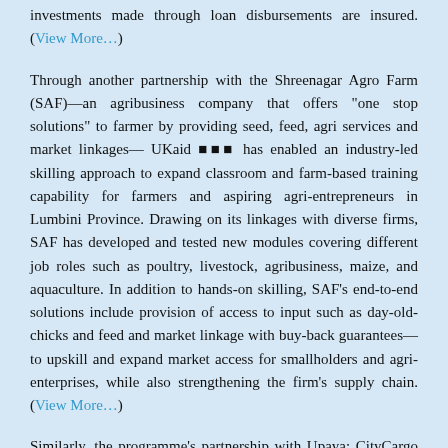investments made through loan disbursements are insured. (View More…)
Through another partnership with the Shreenagar Agro Farm (SAF)—an agribusiness company that offers "one stop solutions" to farmer by providing seed, feed, agri services and market linkages— UKaid [logo] has enabled an industry-led skilling approach to expand classroom and farm-based training capability for farmers and aspiring agri-entrepreneurs in Lumbini Province. Drawing on its linkages with diverse firms, SAF has developed and tested new modules covering different job roles such as poultry, livestock, agribusiness, maize, and aquaculture. In addition to hands-on skilling, SAF's end-to-end solutions include provision of access to input such as day-old-chicks and feed and market linkage with buy-back guarantees—to upskill and expand market access for smallholders and agri-enterprises, while also strengthening the firm's supply chain. (View More…)
Similarly, the programme's partnership with Upaya: CityCargo is helping propel the company's foray into agriculture by strengthening skilling and operations of its subsidiary DVExcellus ("Kheti"). An online marketplace for farm products and provider of end-to-end solutions for farmers and